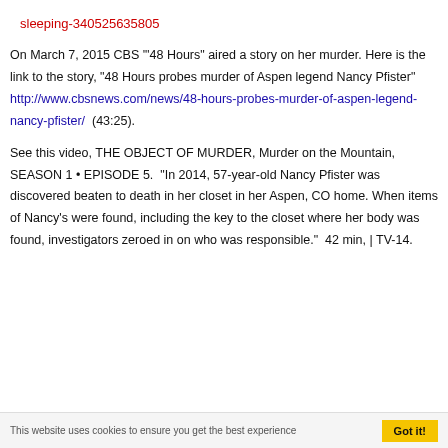sleeping-340525635805
On March 7, 2015 CBS '"48 Hours" aired a story on her murder. Here is the link to the story, "48 Hours probes murder of Aspen legend Nancy Pfister" http://www.cbsnews.com/news/48-hours-probes-murder-of-aspen-legend-nancy-pfister/  (43:25).
See this video, THE OBJECT OF MURDER, Murder on the Mountain, SEASON 1 • EPISODE 5.  "In 2014, 57-year-old Nancy Pfister was discovered beaten to death in her closet in her Aspen, CO home. When items of Nancy's were found, including the key to the closet where her body was found, investigators zeroed in on who was responsible."  42 min, | TV-14.
This website uses cookies to ensure you get the best experience